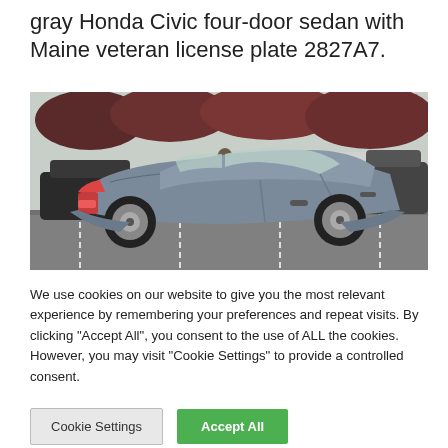gray Honda Civic four-door sedan with Maine veteran license plate 2827A7.
[Figure (photo): Gray Honda Civic four-door sedan photographed from the rear three-quarter angle in a parking lot. Multiple other vehicles are visible in the background, including SUVs and sedans. Trees are visible in the background.]
We use cookies on our website to give you the most relevant experience by remembering your preferences and repeat visits. By clicking “Accept All”, you consent to the use of ALL the cookies. However, you may visit "Cookie Settings" to provide a controlled consent.